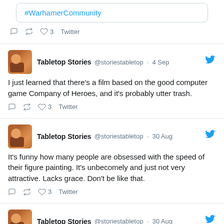#WarhamerCommunity
3  Twitter
Tabletop Stories @storiestabletop · 4 Sep
I just learned that there's a film based on the good computer game Company of Heroes, and it's probably utter trash.
3  Twitter
Tabletop Stories @storiestabletop · 30 Aug
It's funny how many people are obsessed with the speed of their figure painting. It's unbecomely and just not very attractive. Lacks grace. Don't be like that.
3  Twitter
Tabletop Stories @storiestabletop · 30 Aug